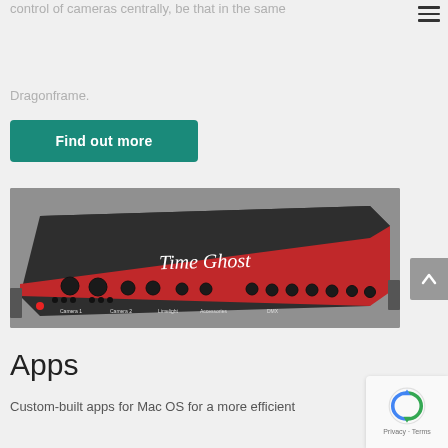control of cameras centrally, be that in the same
Dragonframe.
Find out more
[Figure (photo): A rack-mount hardware unit labeled 'Time Ghost' with a dark top and red front panel featuring multiple knobs and controls]
Apps
Custom-built apps for Mac OS for a more efficient